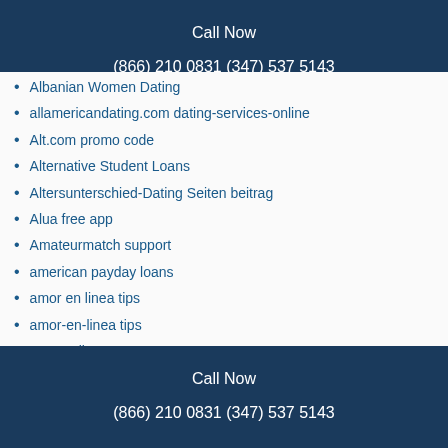Call Now
(866) 210 0831 (347) 537 5143
Albanian Women Dating
allamericandating.com dating-services-online
Alt.com promo code
Alternative Student Loans
Altersunterschied-Dating Seiten beitrag
Alua free app
Amateurmatch support
american payday loans
amor en linea tips
amor-en-linea tips
Amorenlinea
AmorEnLinea free trial
Amscot Financial
Anal Ebony
Anal Play Live Web Cam Porn
anastasia-date org free app
anastasiadate mobile site
Call Now
(866) 210 0831 (347) 537 5143